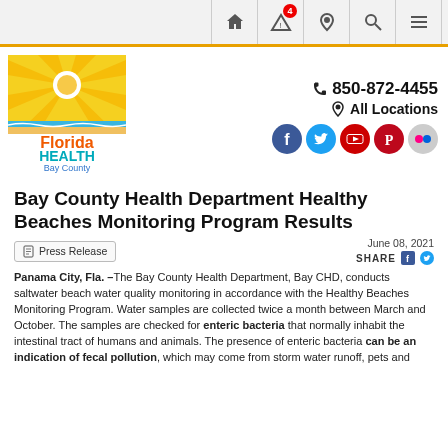Navigation bar with home, alert (4), location, search, menu icons
[Figure (logo): Florida Health Bay County logo — sun rays over beach with teal water, orange 'Florida', teal 'HEALTH', blue 'Bay County' text]
850-872-4455 All Locations
[Figure (infographic): Social media icons: Facebook, Twitter, YouTube, Pinterest, Flickr]
Bay County Health Department Healthy Beaches Monitoring Program Results
June 08, 2021
Press Release
SHARE
Panama City, Fla. –The Bay County Health Department, Bay CHD, conducts saltwater beach water quality monitoring in accordance with the Healthy Beaches Monitoring Program. Water samples are collected twice a month between March and October. The samples are checked for enteric bacteria that normally inhabit the intestinal tract of humans and animals. The presence of enteric bacteria can be an indication of fecal pollution, which may come from storm water runoff, pets and